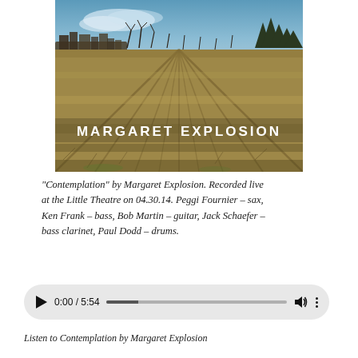[Figure (photo): Album art for Margaret Explosion — a photograph of a harvested field with dried grass/crops under a blue sky with bare trees in the background. Text overlay reads 'MARGARET EXPLOSION' in white bold letters near the bottom center of the image.]
“Contemplation” by Margaret Explosion. Recorded live at the Little Theatre on 04.30.14. Peggi Fournier – sax, Ken Frank – bass, Bob Martin – guitar, Jack Schaefer – bass clarinet, Paul Dodd – drums.
[Figure (screenshot): Audio player UI with play button, time display 0:00 / 5:54, progress bar, volume icon, and more options icon, on a light gray rounded rectangle background.]
Listen to Contemplation by Margaret Explosion